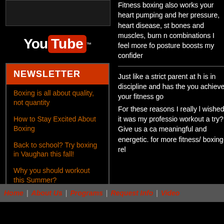[Figure (other): YouTube logo with red box around 'Tube']
NEWSLETTER
Boxing is all about quality, not quantity
How to Stay Excited About Boxing
Back to school? Try boxing in Vaughan this fall!
Why you should workout this Summer?
Boxing for beginners guide
Fitness boxing also works your heart pumping and her pressure, heart disease, st bones and muscles, burn n combinations I feel more fo posture boosts my confider
Just like a strict parent at h is in discipline and has the you achieve your fitness go
For these reasons I really l wished it was my professio workout a try? Give us a ca meaningful and energetic. for more fitness/ boxing-rel
Home | About Us | Programs | Request Info | Video